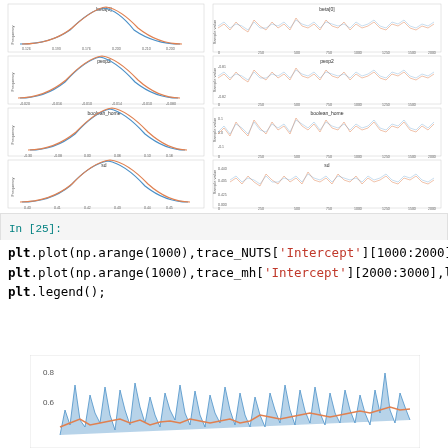[Figure (continuous-plot): Multi-panel MCMC diagnostic figure showing 4 rows x 2 columns of plots. Left column: posterior distribution histograms (frequency vs parameter value) for beta[0], beta[1], boolean_home, and sd. Right column: trace plots (sample value vs iteration 0-2000) for the same parameters. Each histogram has overlapping orange and blue distribution curves.]
In [25]:
plt.plot(np.arange(1000),trace_NUTS['Intercept'][1000:2000],label='NUTS',alpha=.5)
plt.plot(np.arange(1000),trace_mh['Intercept'][2000:3000],label='MH Random Walk')
plt.legend();
[Figure (continuous-plot): Line/area chart showing two overlapping traces: a blue area trace (NUTS) and an orange line trace (MH Random Walk) plotted over 1000 iterations. Y-axis shows values approximately 0.04 to 0.08. Both traces show noisy variation, with the blue NUTS trace showing more volatility.]